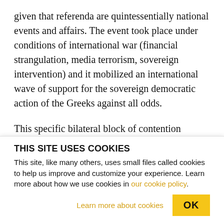given that referenda are quintessentially national events and affairs. The event took place under conditions of international war (financial strangulation, media terrorism, sovereign intervention) and it mobilized an international wave of support for the sovereign democratic action of the Greeks against all odds.
This specific bilateral block of contention between neoliberal bureaucratic order and popular solidarity mobilization is now fully active in most countries in
THIS SITE USES COOKIES
This site, like many others, uses small files called cookies to help us improve and customize your experience. Learn more about how we use cookies in our cookie policy.
Learn more about cookies